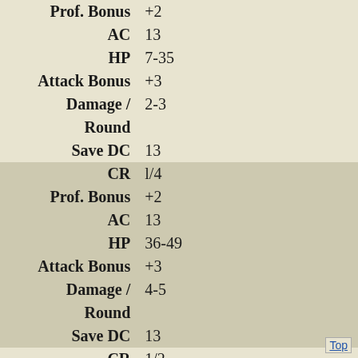| Stat | Value |
| --- | --- |
| Prof. Bonus | +2 |
| AC | 13 |
| HP | 7-35 |
| Attack Bonus | +3 |
| Damage / Round | 2-3 |
| Save DC | 13 |
| CR | l/4 |
| Prof. Bonus | +2 |
| AC | 13 |
| HP | 36-49 |
| Attack Bonus | +3 |
| Damage / Round | 4-5 |
| Save DC | 13 |
| CR | 1/2 |
| Prof. Bonus | +2 |
| AC | 13 |
Top